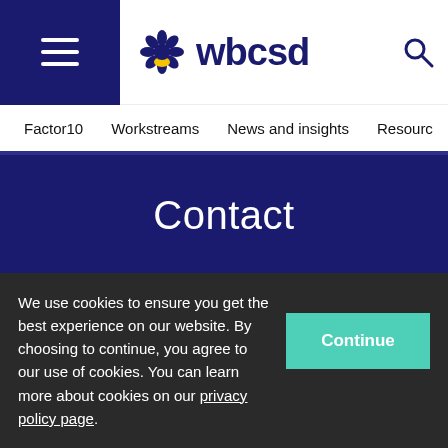≡ wbcsd [logo] [search icon]
Factor10  Workstreams  News and insights  Resourc
Contact
Avenue du Bouchet 2bis,
1209 Geneva,
We use cookies to ensure you get the best experience on our website. By choosing to continue, you agree to our use of cookies. You can learn more about cookies on our privacy policy page.